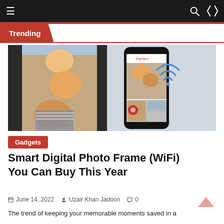≡   🔍 ⇄
Trending
[Figure (photo): A happy family of three (man, woman, and child) smiling for a selfie in a digital photo frame, alongside a smartphone running the Frameo app showing the same photo, with a WiFi symbol above.]
Gadgets
Smart Digital Photo Frame (WiFi) You Can Buy This Year
June 14, 2022   Uzair Khan Jadoon   0
The trend of keeping your memorable moments saved in a